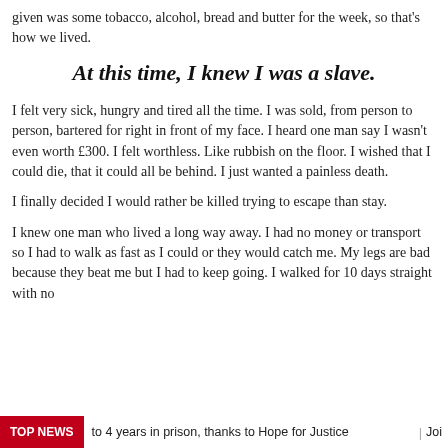given was some tobacco, alcohol, bread and butter for the week, so that's how we lived.
At this time, I knew I was a slave.
I felt very sick, hungry and tired all the time. I was sold, from person to person, bartered for right in front of my face. I heard one man say I wasn't even worth £300. I felt worthless. Like rubbish on the floor. I wished that I could die, that it could all be behind. I just wanted a painless death.
I finally decided I would rather be killed trying to escape than stay.
I knew one man who lived a long way away. I had no money or transport so I had to walk as fast as I could or they would catch me. My legs are bad because they beat me but I had to keep going. I walked for 10 days straight with no
TOP NEWS | to 4 years in prison, thanks to Hope for Justice | Joi